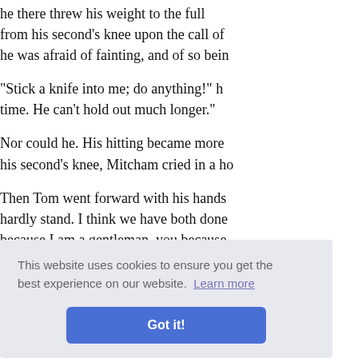he there threw his weight to the full... from his second's knee upon the call of ... he was afraid of fainting, and of so bein...
"Stick a knife into me; do anything!" h... time. He can't hold out much longer."
Nor could he. His hitting became more ... his second's knee, Mitcham cried in a ho...
Then Tom went forward with his hands... hardly stand. I think we have both done... because I am a gentleman, you because ... no more about it."
...nd then h... have lic... a liar."
...it, and t... ...he men in...
[Figure (screenshot): Cookie consent banner overlay with text 'This website uses cookies to ensure you get the best experience on our website. Learn more' and a blue 'Got it!' button]